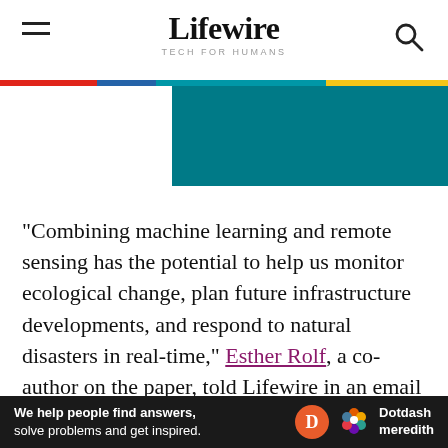Lifewire — TECH FOR HUMANS
[Figure (illustration): Teal/dark cyan rectangular banner image area partially visible]
“Combining machine learning and remote sensing has the potential to help us monitor ecological change, plan future infrastructure developments, and respond to natural disasters in real-time,” Esther Rolf, a co-author on the paper, told Lifewire in an email interview.
Help From Above
[Figure (logo): Dotdash Meredith advertisement banner at bottom: 'We help people find answers, solve problems and get inspired.' with Dotdash Meredith logo]